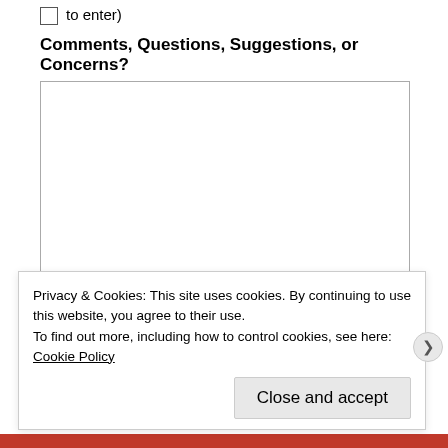to enter)
Comments, Questions, Suggestions, or Concerns?
Privacy & Cookies: This site uses cookies. By continuing to use this website, you agree to their use.
To find out more, including how to control cookies, see here: Cookie Policy
Close and accept